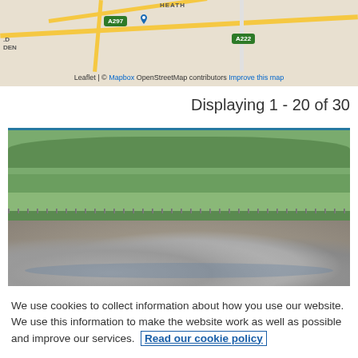[Figure (map): Street map showing road labels A297 and A222, with location labels LD and DEN on the left, and HEATH label at top center. Map attribution reads: Leaflet | © Mapbox OpenStreetMap contributors Improve this map]
Displaying 1 - 20 of 30
[Figure (photo): Photograph of a circular stone feature with large rocks/boulders arranged in a shallow water basin, surrounded by a wooden circular deck/boardwalk, with green grass lawn and trees in the background. Overcast sky.]
We use cookies to collect information about how you use our website. We use this information to make the website work as well as possible and improve our services.  Read our cookie policy